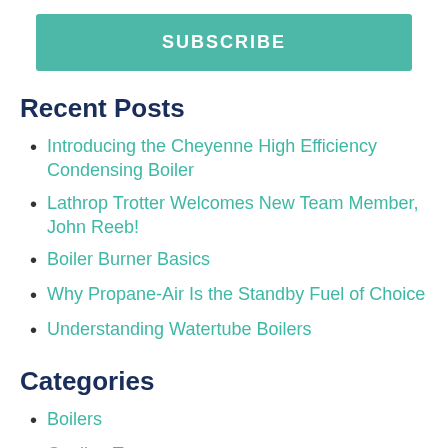SUBSCRIBE
Recent Posts
Introducing the Cheyenne High Efficiency Condensing Boiler
Lathrop Trotter Welcomes New Team Member, John Reeb!
Boiler Burner Basics
Why Propane-Air Is the Standby Fuel of Choice
Understanding Watertube Boilers
Categories
Boilers
Cooling Towers